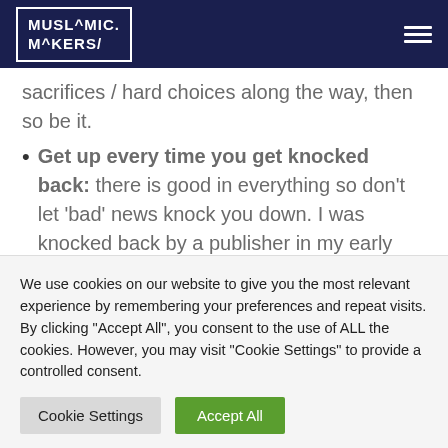MUSLAMIC. MAKERS/
sacrifices / hard choices along the way, then so be it.
Get up every time you get knocked back: there is good in everything so don't let 'bad' news knock you down. I was knocked back by a publisher in my early days, however the journey of self-publishing has meant that I have had to work closely alongside very blessed people, who profoundly
We use cookies on our website to give you the most relevant experience by remembering your preferences and repeat visits. By clicking "Accept All", you consent to the use of ALL the cookies. However, you may visit "Cookie Settings" to provide a controlled consent.